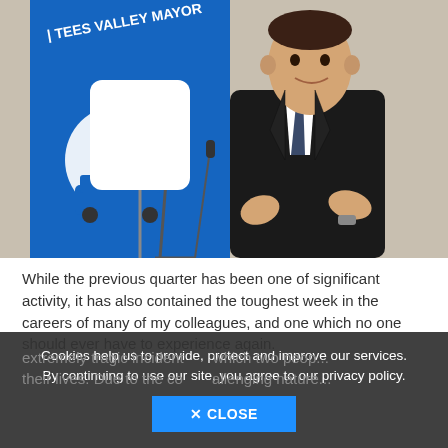[Figure (photo): A man in a dark suit speaking at a podium or event, with a blue banner behind him reading 'TEES VALLEY MAYOR'. A microphone stand and light reflector are visible.]
While the previous quarter has been one of significant activity, it has also contained the toughest week in the careers of many of my colleagues, and one which no one should ever have to experience again.
Cookies help us to provide, protect and improve our services. By continuing to use our site, you agree to our privacy policy.
extremely tragic incident ... which two people lost their lives. Due to the com... allenging nature...